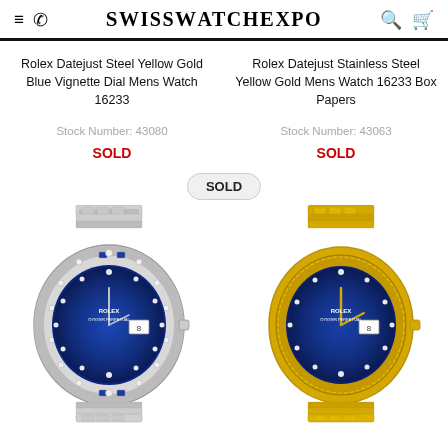SwissWatchExpo
Rolex Datejust Steel Yellow Gold Blue Vignette Dial Mens Watch 16233
Stock Number: 43080
SOLD
Rolex Datejust Stainless Steel Yellow Gold Mens Watch 16233 Box Papers
Stock Number: 43063
SOLD
SOLD
[Figure (photo): Rolex ladies watch with diamond and sapphire bezel, blue vignette dial, white/silver president bracelet]
[Figure (photo): Rolex ladies watch with fluted yellow gold bezel, blue vignette dial, yellow gold president bracelet]